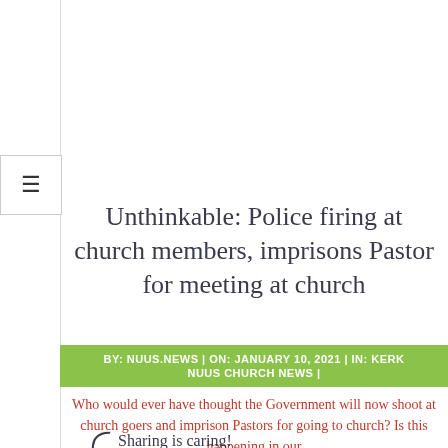≡
Unthinkable: Police firing at church members, imprisons Pastor for meeting at church
BY: NUUS.NEWS | ON: JANUARY 10, 2021 | IN: KERK NUUS CHURCH NEWS |
Who would ever have thought the Government will now shoot at church goers and imprison Pastors for going to church? Is this happening in our
Sharing is caring!